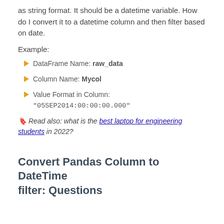as string format. It should be a datetime variable. How do I convert it to a datetime column and then filter based on date.
Example:
DataFrame Name: raw_data
Column Name: Mycol
Value Format in Column: "05SEP2014:00:00:00.000"
🔖 Read also: what is the best laptop for engineering students in 2022?
Convert Pandas Column to DateTime filter: Questions